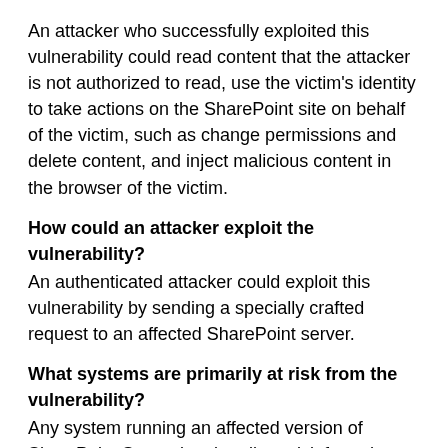An attacker who successfully exploited this vulnerability could read content that the attacker is not authorized to read, use the victim's identity to take actions on the SharePoint site on behalf of the victim, such as change permissions and delete content, and inject malicious content in the browser of the victim.
How could an attacker exploit the vulnerability?
An authenticated attacker could exploit this vulnerability by sending a specially crafted request to an affected SharePoint server.
What systems are primarily at risk from the vulnerability?
Any system running an affected version of SharePoint Server is primarily at risk from the vulnerability.
What does the update do?
The update addresses the vulnerability by helping to ensure that SharePoint Server properly sanitizes user input.